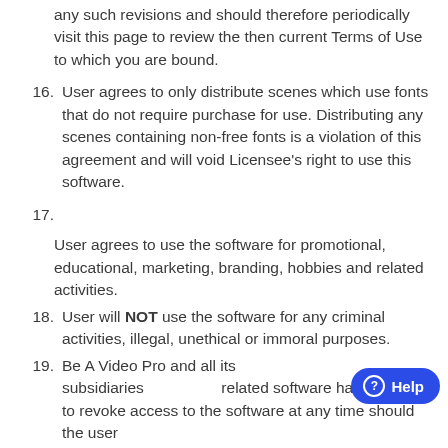any such revisions and should therefore periodically visit this page to review the then current Terms of Use to which you are bound.
16. User agrees to only distribute scenes which use fonts that do not require purchase for use. Distributing any scenes containing non-free fonts is a violation of this agreement and will void Licensee's right to use this software.
17.
User agrees to use the software for promotional, educational, marketing, branding, hobbies and related activities.
18. User will NOT use the software for any criminal activities, illegal, unethical or immoral purposes.
19. Be A Video Pro and all its subsidiaries related software has the right to revoke access to the software at any time should the user